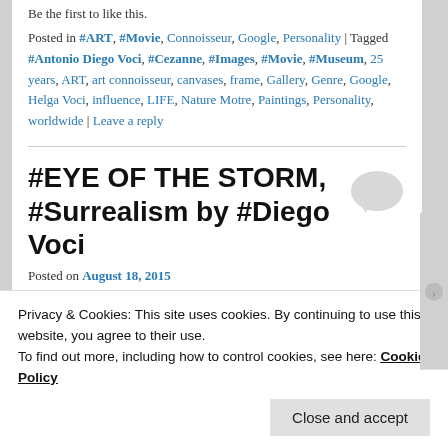Be the first to like this.
Posted in #ART, #Movie, Connoisseur, Google, Personality | Tagged #Antonio Diego Voci, #Cezanne, #Images, #Movie, #Museum, 25 years, ART, art connoisseur, canvases, frame, Gallery, Genre, Google, Helga Voci, influence, LIFE, Nature Motre, Paintings, Personality, worldwide | Leave a reply
#EYE OF THE STORM, #Surrealism by #Diego Voci
Posted on August 18, 2015
Privacy & Cookies: This site uses cookies. By continuing to use this website, you agree to their use.
To find out more, including how to control cookies, see here: Cookie Policy